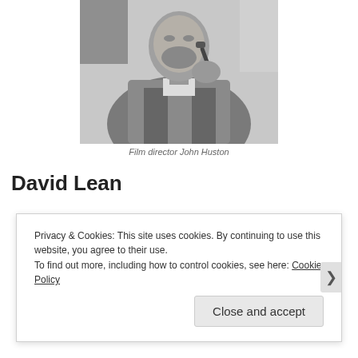[Figure (photo): Black and white photograph of film director John Huston, shown from chest up, holding what appears to be a pipe, wearing a textured jacket.]
Film director John Huston
David Lean
[Figure (photo): Black and white photograph of David Lean, showing his face and upper body, with tousled hair.]
Privacy & Cookies: This site uses cookies. By continuing to use this website, you agree to their use.
To find out more, including how to control cookies, see here: Cookie Policy